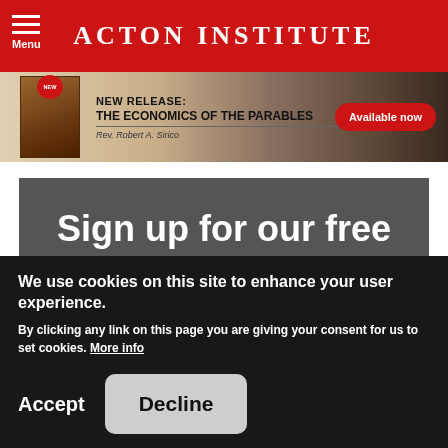Acton Institute
[Figure (infographic): Promotional banner for 'New Release: The Economics of the Parables' by Rev. Robert A. Sirico, with a book cover image on the left, text in the center, and a red 'Available now' pill button on the right. Background shows a wooden table and open Bible.]
Sign up for our free newsletter
We use cookies on this site to enhance your user experience.
By clicking any link on this page you are giving your consent for us to set cookies. More info
Accept
Decline